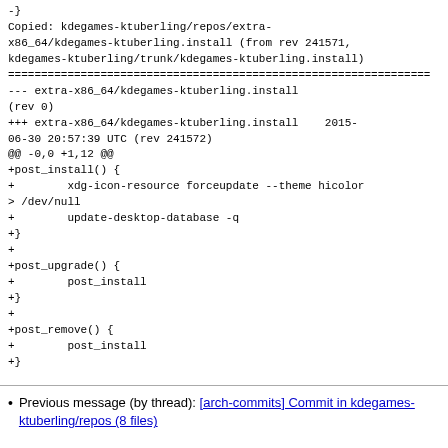-}
Copied: kdegames-ktuberling/repos/extra-x86_64/kdegames-ktuberling.install (from rev 241571, kdegames-ktuberling/trunk/kdegames-ktuberling.install)
================================================================
--- extra-x86_64/kdegames-ktuberling.install
(rev 0)
+++ extra-x86_64/kdegames-ktuberling.install    2015-06-30 20:57:39 UTC (rev 241572)
@@ -0,0 +1,12 @@
+post_install() {
+        xdg-icon-resource forceupdate --theme hicolor &> /dev/null
+        update-desktop-database -q
+}
+
+post_upgrade() {
+        post_install
+}
+
+post_remove() {
+        post_install
+}
Previous message (by thread): [arch-commits] Commit in kdegames-ktuberling/repos (8 files)